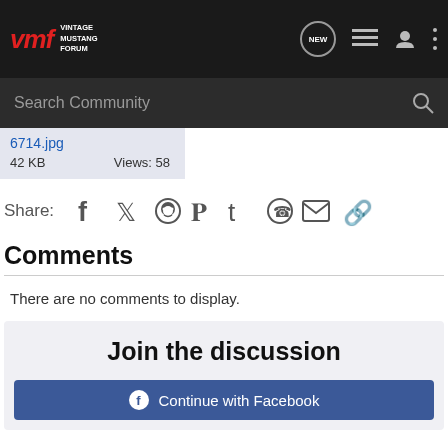Vintage Mustang Forum
6714.jpg
42 KB   Views: 58
Share:
Comments
There are no comments to display.
Join the discussion
Continue with Facebook